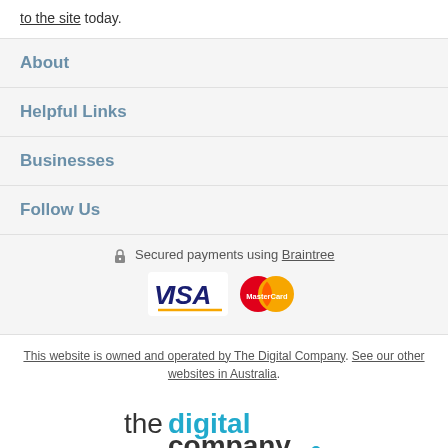to the site today.
About
Helpful Links
Businesses
Follow Us
[Figure (logo): Lock icon with text: Secured payments using Braintree, and VISA / MasterCard logos]
This website is owned and operated by The Digital Company. See our other websites in Australia.
[Figure (logo): The Digital Company logo in dark grey and blue text]